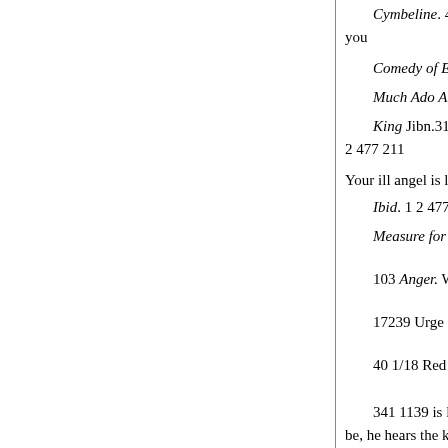Cymbeline. 41 21 915118 Ang... you
Comedy of Errors. 41 31 114.
Much Ado About Nob. 2 3 12...
King Jibn.31 31 399/26 Angd... 2 477 211
Your ill angel is light; but, I hop...
Ibid. 1 2 477|212 Angelo. D.F...
Measure for Measure. 75 - D...
103 Anger. With anger so mu...
17239 Urge not my father's a...
40 1/18 Red look'd anger
341 1139 is like a full hot ho... be, he hears the king does whet...